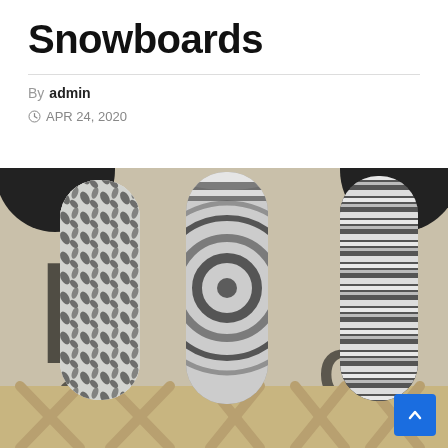Snowboards
By admin
APR 24, 2020
[Figure (photo): Three snowboards on display leaning against a white banner/backdrop. Left board has a tropical leaf/floral pattern in black and white. Center board has a swirling spiral pattern in black and white. Right board has horizontal stripe pattern in black and white. Boards are resting on wooden display racks. Background shows partial large lettering 'H', 'Gi', 'G' from a brand/event logo.]